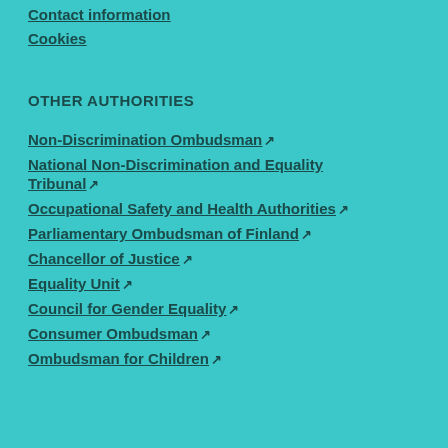Contact information
Cookies
OTHER AUTHORITIES
Non-Discrimination Ombudsman ↗
National Non-Discrimination and Equality Tribunal ↗
Occupational Safety and Health Authorities ↗
Parliamentary Ombudsman of Finland ↗
Chancellor of Justice ↗
Equality Unit ↗
Council for Gender Equality ↗
Consumer Ombudsman ↗
Ombudsman for Children ↗